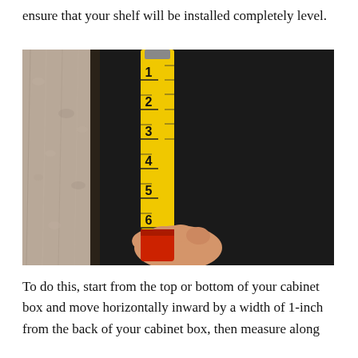ensure that your shelf will be installed completely level.
[Figure (photo): A hand holding a yellow tape measure vertically against a dark cabinet interior wall, with a textured light-colored wall visible on the left side. The tape measure shows markings from 1 to 6 inches.]
To do this, start from the top or bottom of your cabinet box and move horizontally inward by a width of 1-inch from the back of your cabinet box, then measure along the wall to the height you would like your shelf to go.